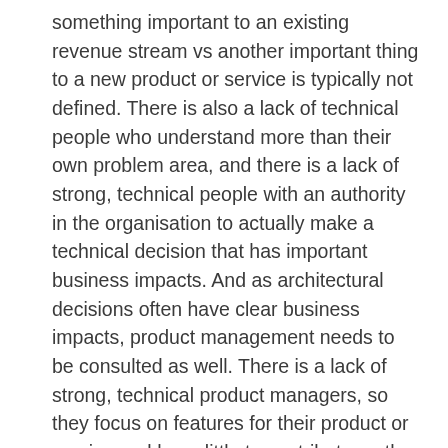something important to an existing revenue stream vs another important thing to a new product or service is typically not defined. There is also a lack of technical people who understand more than their own problem area, and there is a lack of strong, technical people with an authority in the organisation to actually make a technical decision that has important business impacts. And as architectural decisions often have clear business impacts, product management needs to be consulted as well. There is a lack of strong, technical product managers, so they focus on features for their product or service and have little to contribute on the fundamental architectural choices that have big business impacts later on, potentially across all the products and services. Thus, 10, 20, 30 or even more people are brought together in large meetings to make sure all stakeholders are involved.   Typically, engineers/architects work in